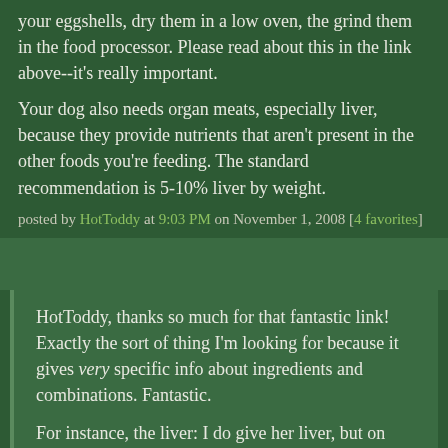your eggshells, dry them in a low oven, the grind them in the food processor. Please read about this in the link above--it's really important.

Your dog also needs organ meats, especially liver, because they provide nutrients that aren't present in the other foods you're feeding. The standard recommendation is 5-10% liver by weight.
posted by HotToddy at 9:03 PM on November 1, 2008 [4 favorites]
HotToddy, thanks so much for that fantastic link! Exactly the sort of thing I'm looking for because it gives very specific info about ingredients and combinations. Fantastic.

For instance, the liver: I do give her liver, but on rotation... so she has chicken or turkey for a few days, then fish, then